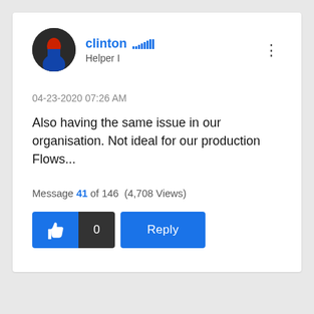[Figure (screenshot): User avatar - person in costume]
clinton  Helper I
04-23-2020 07:26 AM
Also having the same issue in our organisation. Not ideal for our production Flows...
Message 41 of 146  (4,708 Views)
[Figure (infographic): Like button with thumbs up icon, count of 0, and Reply button]